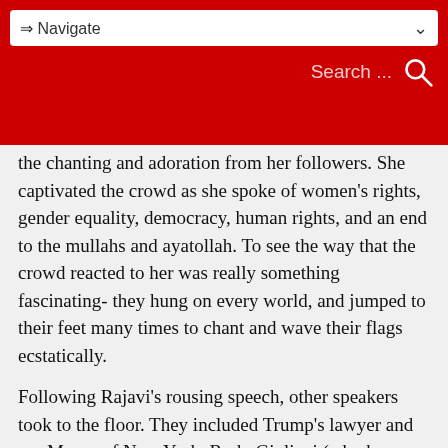⇒ Navigate  Search ...
the chanting and adoration from her followers. She captivated the crowd as she spoke of women's rights, gender equality, democracy, human rights, and an end to the mullahs and ayatollah. To see the way that the crowd reacted to her was really something fascinating- they hung on every world, and jumped to their feet many times to chant and wave their flags ecstatically.
Following Rajavi's rousing speech, other speakers took to the floor. They included Trump's lawyer and ex- Mayor of New York, Rudy Giuliani (who has attended 11 such